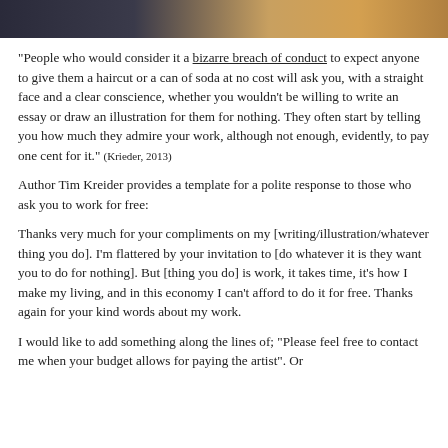[Figure (photo): Partial photograph strip showing a person and colorful background, cropped at top of page]
"People who would consider it a bizarre breach of conduct to expect anyone to give them a haircut or a can of soda at no cost will ask you, with a straight face and a clear conscience, whether you wouldn't be willing to write an essay or draw an illustration for them for nothing. They often start by telling you how much they admire your work, although not enough, evidently, to pay one cent for it." (Krieder, 2013)
Author Tim Kreider provides a template for a polite response to those who ask you to work for free:
Thanks very much for your compliments on my [writing/illustration/whatever thing you do]. I'm flattered by your invitation to [do whatever it is they want you to do for nothing]. But [thing you do] is work, it takes time, it's how I make my living, and in this economy I can't afford to do it for free. Thanks again for your kind words about my work.
I would like to add something along the lines of; "Please feel free to contact me when your budget allows for paying the artist". Or